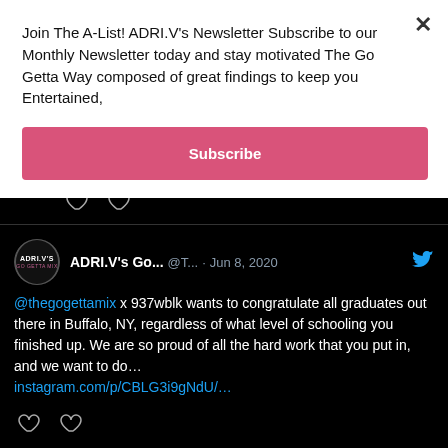Join The A-List! ADRI.V's Newsletter Subscribe to our Monthly Newsletter today and stay motivated The Go Getta Way composed of great findings to keep you Entertained,
Subscribe
[Figure (screenshot): Twitter/social media feed shown on dark background. Top strip shows two heart/like icons. Below is a tweet from ADRI.V's Go... (@T...) dated Jun 8, 2020, with text: @thegogettamix x 937wblk wants to congratulate all graduates out there in Buffalo, NY, regardless of what level of schooling you finished up. We are so proud of all the hard work that you put in, and we want to do... with link instagram.com/p/CBLG3i9gNdU/... and two heart icons below. At very bottom is the beginning of another tweet from ADRI.V's Go... @T... Jun 6, 2020.]